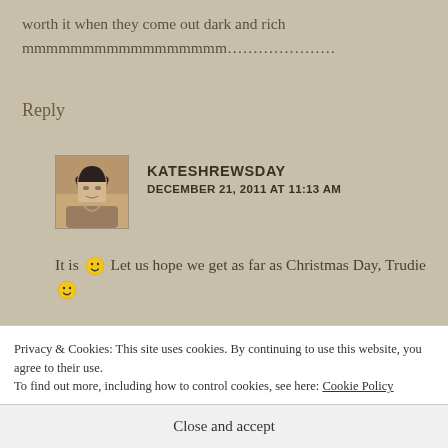worth it when they come out dark and rich
mmmmmmmmmmmmmmmmm…………………
Reply
[Figure (photo): Avatar photo of a painted figure, woman with dark hair]
KATESHREWSDAY
DECEMBER 21, 2011 AT 11:13 AM
It is 🙂 Let us hope we get as far as Christmas Day, Trudie 🙂
Privacy & Cookies: This site uses cookies. By continuing to use this website, you agree to their use.
To find out more, including how to control cookies, see here: Cookie Policy
Close and accept